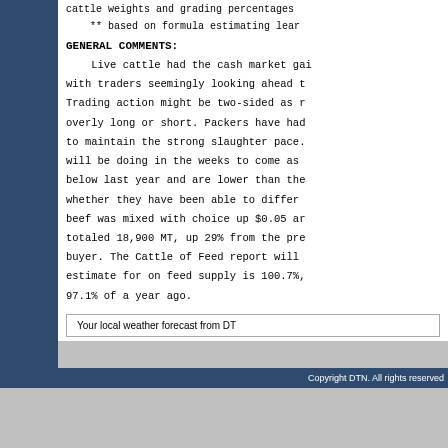cattle weights and grading percentages
** based on formula estimating lean
GENERAL COMMENTS:
Live cattle had the cash market gai with traders seemingly looking ahead t Trading action might be two-sided as r overly long or short. Packers have had to maintain the strong slaughter pace. will be doing in the weeks to come as below last year and are lower than the whether they have been able to differ beef was mixed with choice up $0.05 an totaled 18,900 MT, up 29% from the pre buyer. The Cattle of Feed report will estimate for on feed supply is 100.7%, 97.1% of a year ago.
Your local weather forecast from DTN
Copyright DTN. All rights reserved